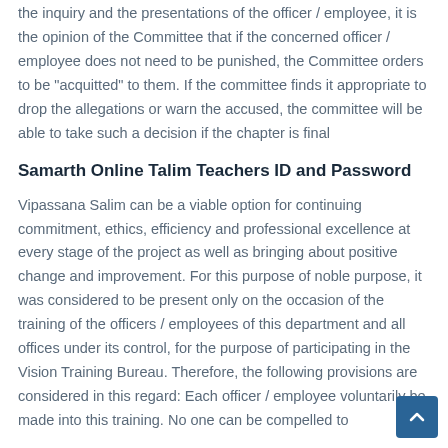the inquiry and the presentations of the officer / employee, it is the opinion of the Committee that if the concerned officer / employee does not need to be punished, the Committee orders to be "acquitted" to them. If the committee finds it appropriate to drop the allegations or warn the accused, the committee will be able to take such a decision if the chapter is final
Samarth Online Talim Teachers ID and Password
Vipassana Salim can be a viable option for continuing commitment, ethics, efficiency and professional excellence at every stage of the project as well as bringing about positive change and improvement. For this purpose of noble purpose, it was considered to be present only on the occasion of the training of the officers / employees of this department and all offices under its control, for the purpose of participating in the Vision Training Bureau. Therefore, the following provisions are considered in this regard: Each officer / employee voluntarily be made into this training. No one can be compelled to